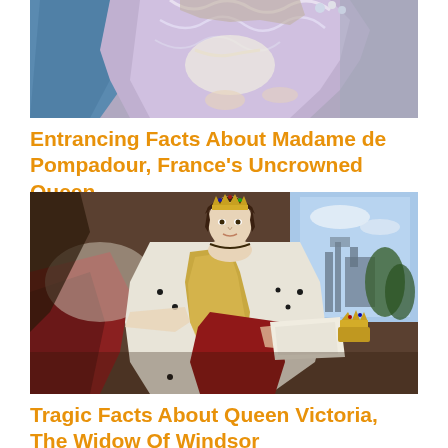[Figure (illustration): Painting of Madame de Pompadour in a lavender/blue ruffled dress, cropped showing upper body and hands]
Entrancing Facts About Madame de Pompadour, France's Uncrowned Queen
[Figure (illustration): Portrait painting of Queen Victoria seated in royal regalia with crown, white ermine-trimmed robe, holding papers, with crown beside her and Westminster Abbey visible through window in background]
Tragic Facts About Queen Victoria, The Widow Of Windsor